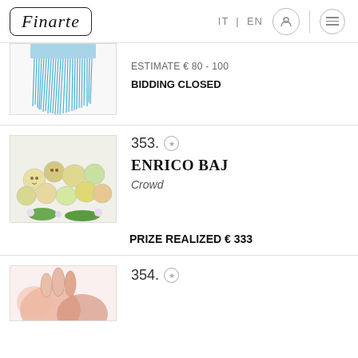Finarte | IT | EN
[Figure (photo): Partial view of a blue fringe/tassel artwork on white background]
ESTIMATE € 80 - 100
BIDDING CLOSED
353.
ENRICO BAJ
Crowd
[Figure (photo): Colorful artwork showing a crowd of round faces with floral elements in yellow, green, and white tones]
PRIZE REALIZED € 333
354.
[Figure (photo): Partial view of a colorful artwork with pinkish-red tones, partially visible]